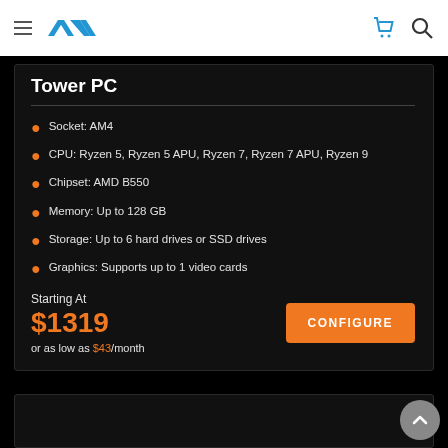AVA — navigation bar with hamburger menu, logo, cart and search icons
Tower PC
Socket: AM4
CPU: Ryzen 5, Ryzen 5 APU, Ryzen 7, Ryzen 7 APU, Ryzen 9
Chipset: AMD B550
Memory: Up to 128 GB
Storage: Up to 6 hard drives or SSD drives
Graphics: Supports up to 1 video cards
Starting At
$1319
or as low as $43/month
CONFIGURE